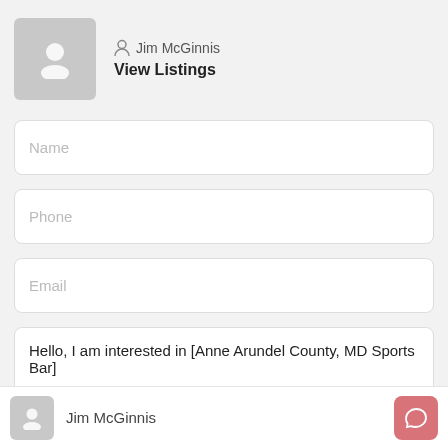[Figure (illustration): Agent profile card with avatar placeholder (gray square with person icon), agent name 'Jim McGinnis' with person icon, and 'View Listings' bold link below]
Name
Phone
Email
Hello, I am interested in [Anne Arundel County, MD Sports Bar]
Jim McGinnis